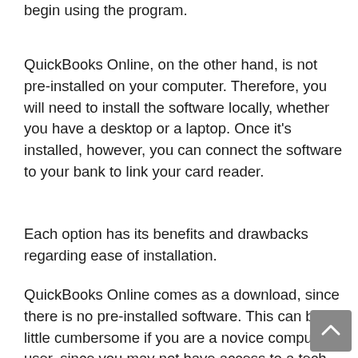begin using the program.
QuickBooks Online, on the other hand, is not pre-installed on your computer. Therefore, you will need to install the software locally, whether you have a desktop or a laptop. Once it’s installed, however, you can connect the software to your bank to link your card reader.
Each option has its benefits and drawbacks regarding ease of installation.
QuickBooks Online comes as a download, since there is no pre-installed software. This can be a little cumbersome if you are a novice computer user, since you may not have access to a tech support call or to a